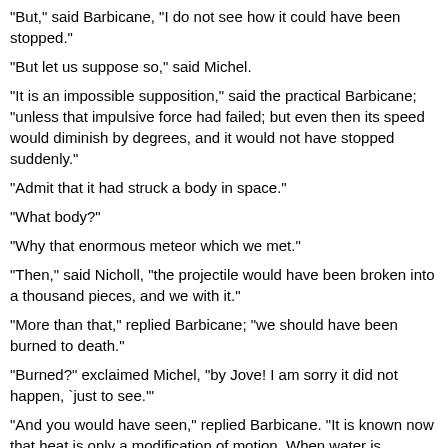"But," said Barbicane, "I do not see how it could have been stopped."
"But let us suppose so," said Michel.
"It is an impossible supposition," said the practical Barbicane; "unless that impulsive force had failed; but even then its speed would diminish by degrees, and it would not have stopped suddenly."
"Admit that it had struck a body in space."
"What body?"
"Why that enormous meteor which we met."
"Then," said Nicholl, "the projectile would have been broken into a thousand pieces, and we with it."
"More than that," replied Barbicane; "we should have been burned to death."
"Burned?" exclaimed Michel, "by Jove! I am sorry it did not happen, `just to see.'"
"And you would have seen," replied Barbicane. "It is known now that heat is only a modification of motion. When water is warmed-- that is to say, when heat is added to it--its particles are set in motion."
"Well," said michel, "that is an ingenious theory!"
"And a true one, my worthy friend; for it explains every phenomenon of caloric. Heat is but the motion of atoms, a simple oscillation of the particles of a body. When they apply the brake to a train, the train comes to a stop;